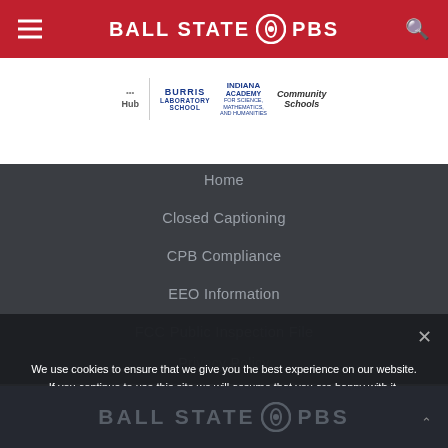BALL STATE PBS
[Figure (logo): Logos strip showing Hub, Burris Laboratory School, Indiana Academy for Science Mathematics and Humanities, Community Schools]
Home
Closed Captioning
CPB Compliance
EEO Information
FCC Public Inspection File
Privacy Policy
We use cookies to ensure that we give you the best experience on our website. If you continue to use this site we will assume that you are happy with it.
[Figure (logo): Ball State PBS large watermark logo at bottom of page]